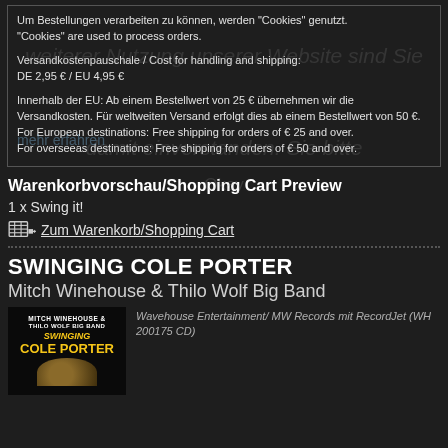Um Bestellungen verarbeiten zu können, werden "Cookies" genutzt. "Cookies" are used to process orders.

Versandkostenpauschale / Cost for handling and shipping:
DE 2,95 € / EU 4,95 €

Innerhalb der EU: Ab einem Bestellwert von 25 € übernehmen wir die Versandkosten. Für weltweiten Versand erfolgt dies ab einem Bestellwert von 50 €.
For European destinations: Free shipping for orders of € 25 and over.
For overseeas destinations: Free shipping for orders of € 50 and over.
Warenkorbvorschau/Shopping Cart Preview
1 x Swing it!
Zum Warenkorb/Shopping Cart
SWINGING COLE PORTER
Mitch Winehouse & Thilo Wolf Big Band
[Figure (photo): Album cover for Swinging Cole Porter by Mitch Winehouse & Thilo Wolf Big Band]
Wavehouse Entertainment/ MW Records mit RecordJet (WH 200175 CD)